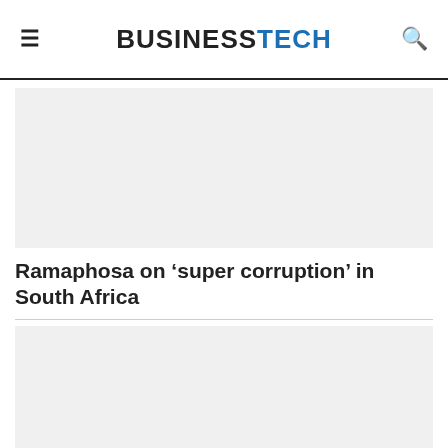BUSINESSTECH
[Figure (photo): Placeholder image area (light grey rectangle) for an article photo]
Ramaphosa on ‘super corruption’ in South Africa
[Figure (photo): Placeholder image area (light grey rectangle) for a second article photo]